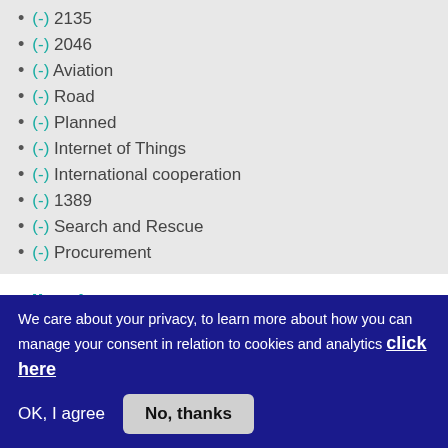(-) 2135
(-) 2046
(-) Aviation
(-) Road
(-) Planned
(-) Internet of Things
(-) International cooperation
(-) 1389
(-) Search and Rescue
(-) Procurement
Filter by type
We care about your privacy, to learn more about how you can manage your consent in relation to cookies and analytics click here
OK, I agree
No, thanks